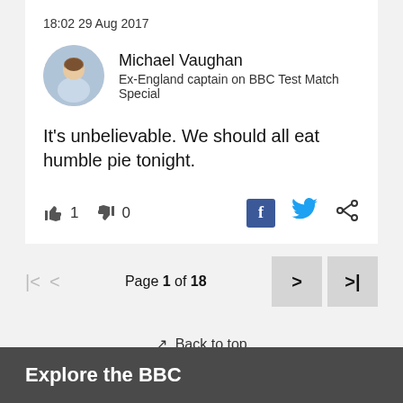18:02 29 Aug 2017
Michael Vaughan
Ex-England captain on BBC Test Match Special
[Figure (photo): Circular avatar photo of Michael Vaughan]
It's unbelievable. We should all eat humble pie tonight.
👍 1   👎 0
Page 1 of 18
↑ Back to top
Explore the BBC